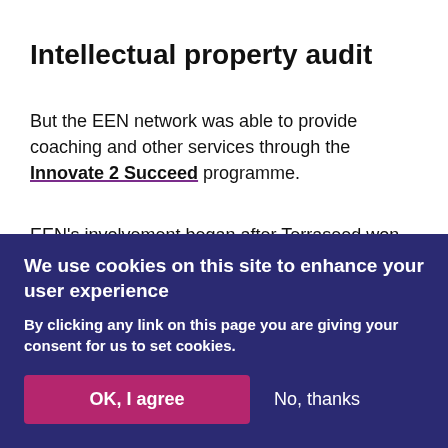Intellectual property audit
But the EEN network was able to provide coaching and other services through the Innovate 2 Succeed programme.
EEN's involvement began after Terraseed won
We use cookies on this site to enhance your user experience
By clicking any link on this page you are giving your consent for us to set cookies.
OK, I agree  No, thanks